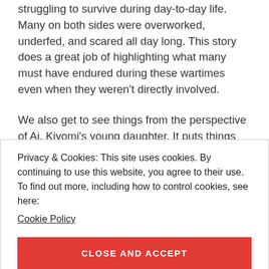struggling to survive during day-to-day life. Many on both sides were overworked, underfed, and scared all day long. This story does a great job of highlighting what many must have endured during these wartimes even when they weren't directly involved.
We also get to see things from the perspective of Ai, Kiyomi's young daughter. It puts things into perspective to see stuff through a childlike perspective. She doesn't care about the war or the why the emperor wants them to
Privacy & Cookies: This site uses cookies. By continuing to use this website, you agree to their use.
To find out more, including how to control cookies, see here: Cookie Policy
CLOSE AND ACCEPT